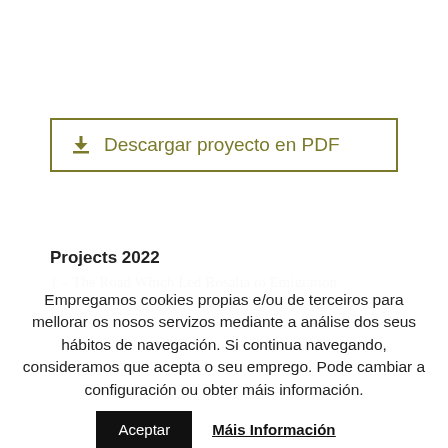[Figure (other): Download button with olive/dark yellow border and icon: 'Descargar proyecto en PDF']
Projects 2022
1 – The Road Which Led Rosalia to Emigration
Empregamos cookies propias e/ou de terceiros para mellorar os nosos servizos mediante a análise dos seus hábitos de navegación. Si continua navegando, consideramos que acepta o seu emprego. Pode cambiar a configuración ou obter máis información.
Aceptar
Máis Información